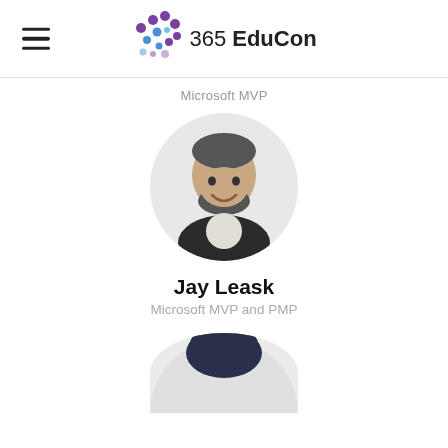365 EduCon
Microsoft MVP
[Figure (photo): Circular profile photo of Jay Leask, a man with short dark hair and a beard wearing a dark blazer and light shirt, smiling at the camera]
Jay Leask
Microsoft MVP and PMP
[Figure (photo): Circular profile photo partially visible – only the top of a person's head with dark hair is visible at the bottom of the page]